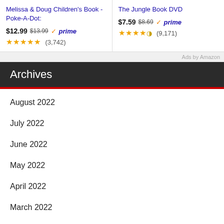Melissa & Doug Children's Book - Poke-A-Dot: $12.99 $13.99 prime ★★★★★ (3,742)
The Jungle Book DVD $7.59 $8.69 prime ★★★★½ (9,171)
Ads by Amazon
Archives
August 2022
July 2022
June 2022
May 2022
April 2022
March 2022